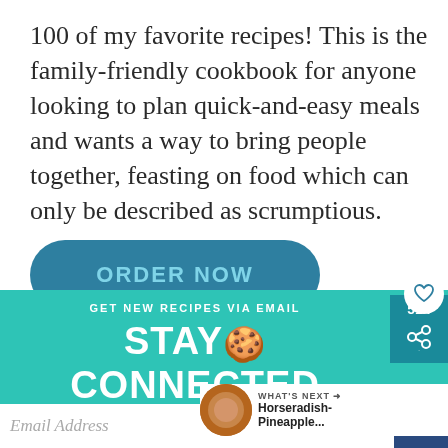100 of my favorite recipes! This is the family-friendly cookbook for anyone looking to plan quick-and-easy meals and wants a way to bring people together, feasting on food which can only be described as scrumptious.
[Figure (other): Teal rounded button with text ORDER NOW]
[Figure (infographic): Teal banner with text GET NEW RECIPES VIA EMAIL and STAY CONNECTED with cookie emoji, share count 514, heart icon, and email subscription field with What's Next Horseradish-Pineapple... sidebar]